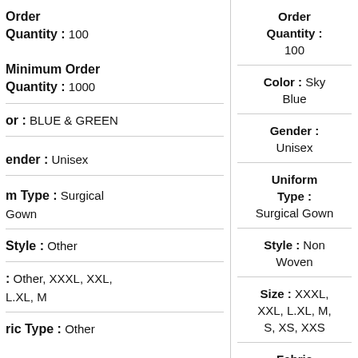| Attribute | Product 1 | Product 2 | Product 3 |
| --- | --- | --- | --- |
| Order Quantity : 100 | Minimum Order Quantity : 1000 | Order Quantity : 100 | Order Quantity : 100 | Order Quantity : |
| Color : BLUE & GREEN | Color : Sky Blue | Color : Blue | Color : B |
| Gender : Unisex | Gender : Unisex | Gender : Unisex | Gender : Uni |
| Uniform Type : Surgical Gown | Uniform Type : Surgical Gown | Uniform Type : Surgical Gown | Uniform Type : Surgic |
| Style : Other | Style : Non Woven | Style : Non Woven | Style : W |
| Size : Other, XXXL, XXL, L.XL, M | Size : XXXL, XXL, L.XL, M, S, XS, XXS | Size : XXXL, XXL, L.XL, M, S, XS, XXS | Size : XXL, S, X |
| Fabric Type : Other | Fabric | Fabric | Fa |